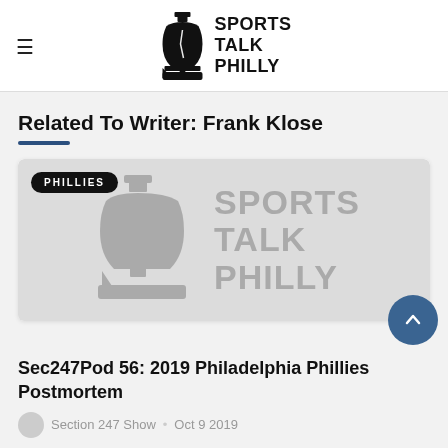Sports Talk Philly
Related To Writer: Frank Klose
[Figure (logo): Sports Talk Philly logo (grayscale) with liberty bell icon and text 'SPORTS TALK PHILLY', with 'PHILLIES' badge overlay]
Sec247Pod 56: 2019 Philadelphia Phillies Postmortem
Section 247 Show • Oct 9 2019